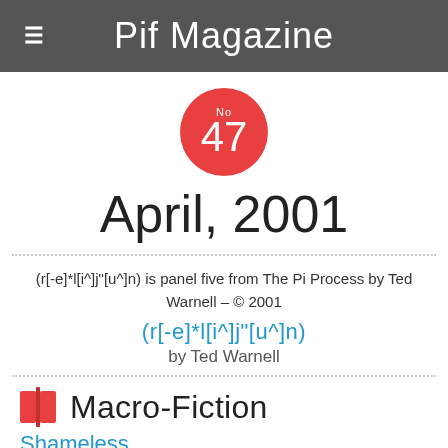Pif Magazine
[Figure (illustration): Red circle badge with 'No 47' text]
April, 2001
(r[-e]*l[i^]j"[u^]n) is panel five from The Pi Process by Ted Warnell – © 2001
(r[-e]*l[i^]j"[u^]n)
by Ted Warnell
Macro-Fiction
Shameless
By Christian Simon